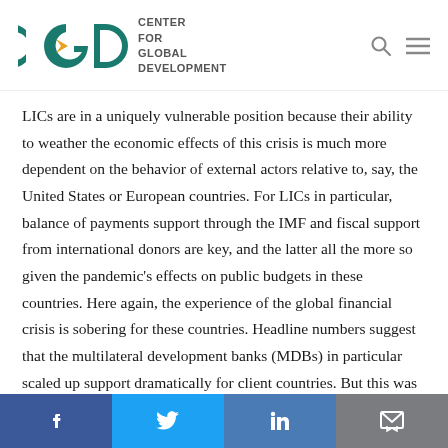[Figure (logo): Center for Global Development (CGD) logo with teal CGD letters and gold arrow, accompanied by 'CENTER FOR GLOBAL DEVELOPMENT' text]
LICs are in a uniquely vulnerable position because their ability to weather the economic effects of this crisis is much more dependent on the behavior of external actors relative to, say, the United States or European countries. For LICs in particular, balance of payments support through the IMF and fiscal support from international donors are key, and the latter all the more so given the pandemic's effects on public budgets in these countries. Here again, the experience of the global financial crisis is sobering for these countries. Headline numbers suggest that the multilateral development banks (MDBs) in particular scaled up support dramatically for client countries. But this was
[Figure (infographic): Social media share bar with Facebook, Twitter, LinkedIn, and email/bookmark icons on colored backgrounds]